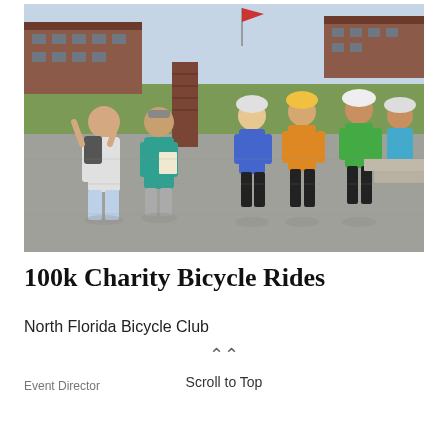[Figure (photo): Group of cyclists wearing helmets and colorful jerseys gathered outdoors at what appears to be a historic fort or park, with red brick buildings in the background. Two non-cyclists stand to the left, one gesturing. An American flag is visible on a pole.]
100k Charity Bicycle Rides
North Florida Bicycle Club
Event Director
Scroll to Top